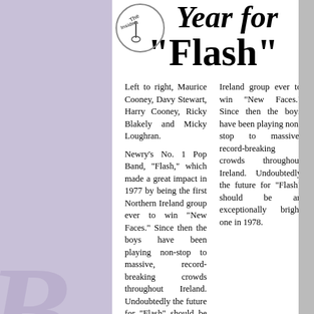[Figure (photo): Newspaper clipping with title 'Year for Flash', band member names caption, and article text about Flash being Newry's No. 1 Pop Band and first Northern Ireland group to win New Faces. Also includes a logo stamp and a photo on the right.]
Left to right, Maurice Cooney, Davy Stewart, Harry Cooney, Ricky Blakely and Micky Loughran.
Newry's No. 1 Pop Band, "Flash," which made a great impact in 1977 by being the first Northern Ireland group ever to win "New Faces." Since then the boys have been playing non-stop to massive, record-breaking crowds throughout Ireland. Undoubtedly the future for "Flash" should be an exceptionally bright one in 1978.
BILLY BROWN
But we motored on and then came a chance meeting with Billy Brown who discussed an idea Harry and I had of doing a cover version of... the business, a brilliant idea. "Magic" that was one of his... producing records et al for Ritz Records; he set up recording...
IN THE STUDIO
A few weeks later we get the band together in the studio. Billy... Buckley down. To get this sound he has himself on baritone s... the main recording studio belting it out to get the desired eff... engineered on some Rolling Stones albums, he had micropho...